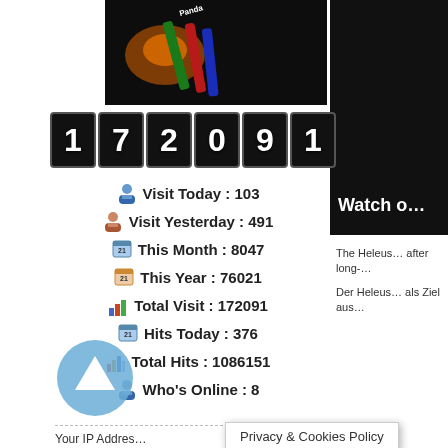[Figure (photo): Photo of Panda brand markers/whiteboard pens in multiple colors (orange, green, red, blue) on a dark surface with light glow]
[Figure (infographic): Flip-clock style visit counter showing number 172091 in white digits on black square tiles]
Visit Today : 103
Visit Yesterday : 491
This Month : 8047
This Year : 76021
Total Visit : 172091
Hits Today : 376
Total Hits : 1086151
Who's Online : 8
Your IP Addres…
Privacy & Cookies Policy
Watch o…
The Heleus… after long-…
Der Heleus… als Ziel aus…